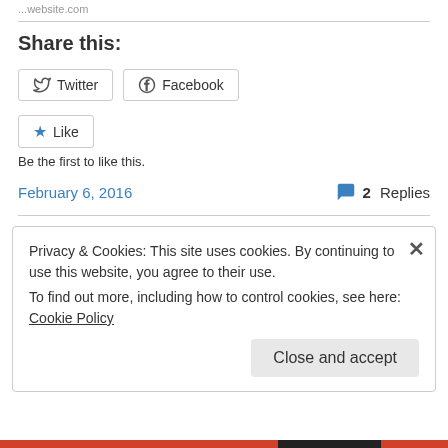...website.com
Share this:
[Figure (other): Twitter and Facebook share buttons]
[Figure (other): Like button with star icon]
Be the first to like this.
February 6, 2016
2 Replies
Privacy & Cookies: This site uses cookies. By continuing to use this website, you agree to their use.
To find out more, including how to control cookies, see here: Cookie Policy
Close and accept